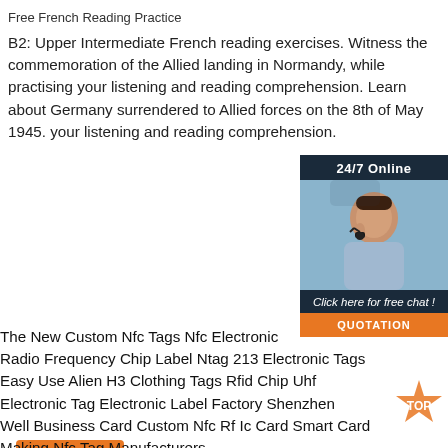Free French Reading Practice
B2: Upper Intermediate French reading exercises. Witness the commemoration of the Allied landing in Normandy, while practising your listening and reading comprehension. Learn about Germany surrendered to Allied forces on the 8th of May 1945. your listening and reading comprehension.
Get Price
[Figure (infographic): Customer service chat widget with '24/7 Online' banner, photo of smiling woman with headset, 'Click here for free chat!' text, and orange QUOTATION button]
The New Custom Nfc Tags Nfc Electronic Radio Frequency Chip Label Ntag 213 Electronic Tags Easy Use Alien H3 Clothing Tags Rfid Chip Uhf Electronic Tag Electronic Label Factory Shenzhen Well Business Card Custom Nfc Rf Ic Card Smart Card Making Nfc Tag Manufacturers Environmentally Friendly 6 C6985 Uhf Acidproof Alkali